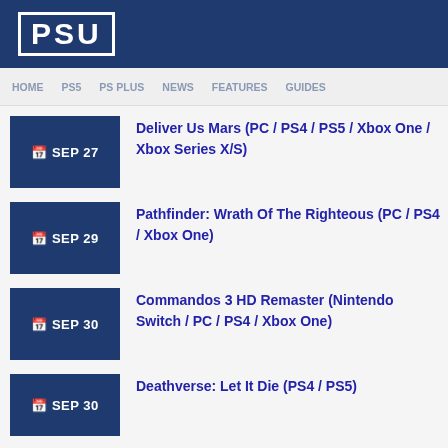PSU
HOME  PS5  PS PLUS  NEWS  FEATURES  GUIDES
SEP 27 – Deliver Us Mars (PC / PS4 / PS5 / Xbox One / Xbox Series X/S)
SEP 29 – Pathfinder: Wrath Of The Righteous (PC / PS4 / Xbox One)
SEP 30 – Commandos 3 HD Remaster (Nintendo Switch / PC / PS4 / Xbox One)
SEP 30 – Deathverse: Let It Die (PS4 / PS5)